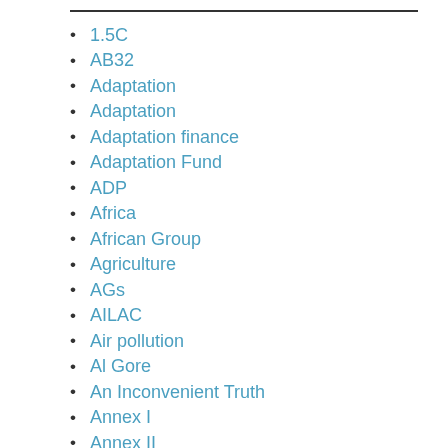1.5C
AB32
Adaptation
Adaptation
Adaptation finance
Adaptation Fund
ADP
Africa
African Group
Agriculture
AGs
AILAC
Air pollution
Al Gore
An Inconvenient Truth
Annex I
Annex II
Antarctica